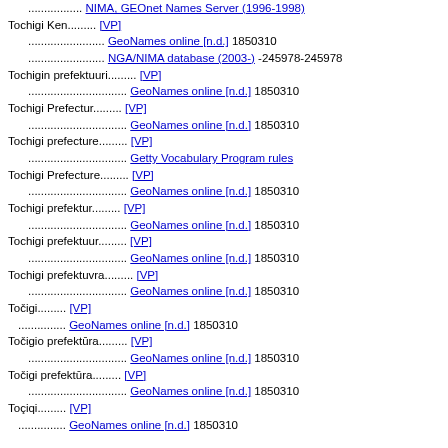................. NIMA, GEOnet Names Server (1996-1998)
Tochigi Ken.......... [VP]
........................ GeoNames online [n.d.] 1850310
........................ NGA/NIMA database (2003-) -245978-245978
Tochigin prefektuuri.......... [VP]
............................... GeoNames online [n.d.] 1850310
Tochigi Prefectur.......... [VP]
............................... GeoNames online [n.d.] 1850310
Tochigi prefecture.......... [VP]
............................... Getty Vocabulary Program rules
Tochigi Prefecture.......... [VP]
............................... GeoNames online [n.d.] 1850310
Tochigi prefektur.......... [VP]
............................... GeoNames online [n.d.] 1850310
Tochigi prefektuur.......... [VP]
............................... GeoNames online [n.d.] 1850310
Tochigi prefektuvra.......... [VP]
............................... GeoNames online [n.d.] 1850310
Točigi.......... [VP]
.............. GeoNames online [n.d.] 1850310
Točigio prefektūra.......... [VP]
............................... GeoNames online [n.d.] 1850310
Točigi prefektūra.......... [VP]
............................... GeoNames online [n.d.] 1850310
Toçiqi.......... [VP]
.............. GeoNames online [n.d.] 1850310